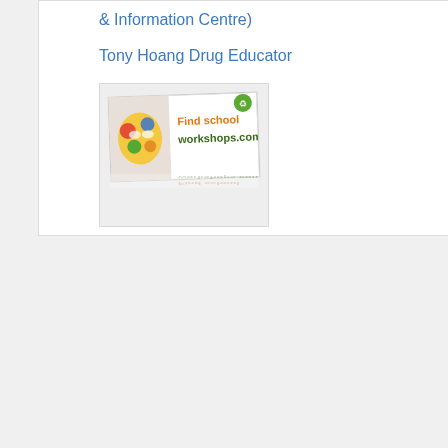& Information Centre)
Tony Hoang Drug Educator
[Figure (screenshot): Banner/logo image for findschoolworkshops.com showing a child with a colorful painted mask face and the text 'Find school workshops.com' with a green leaf/recycling icon in top right corner and a reflection effect below.]